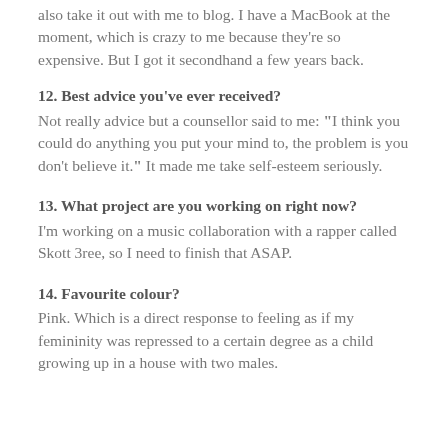also take it out with me to blog. I have a MacBook at the moment, which is crazy to me because they're so expensive. But I got it secondhand a few years back.
12. Best advice you've ever received?
Not really advice but a counsellor said to me: “I think you could do anything you put your mind to, the problem is you don’t believe it.” It made me take self-esteem seriously.
13. What project are you working on right now?
I’m working on a music collaboration with a rapper called Skott 3ree, so I need to finish that ASAP.
14. Favourite colour?
Pink. Which is a direct response to feeling as if my femininity was repressed to a certain degree as a child growing up in a house with two males.